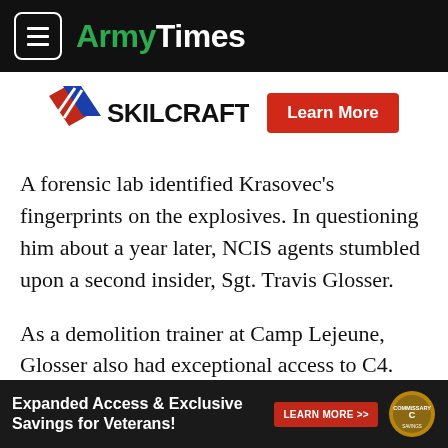ArmyTimes
[Figure (logo): SKILCRAFT logo with red/blue chevron graphic and Learn More button]
A forensic lab identified Krasovec’s fingerprints on the explosives. In questioning him about a year later, NCIS agents stumbled upon a second insider, Sgt. Travis Glosser.
As a demolition trainer at Camp Lejeune, Glosser also had exceptional access to C4.
During the summer of 2016, Glosser feared Hillary Clinton would beat Donald Trump in the presidential election, and
[Figure (infographic): Bottom advertisement banner: Expanded Access & Exclusive Savings for Veterans! LEARN MORE >> with Commissary logo]